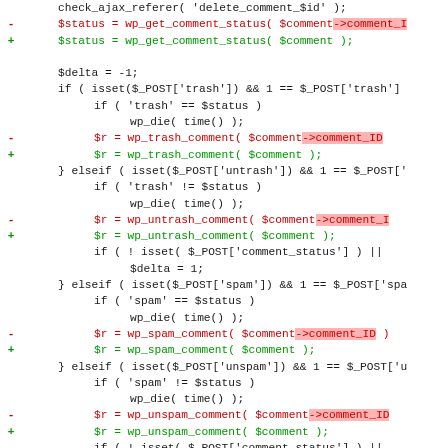[Figure (screenshot): Code diff showing PHP WordPress comment handling code. Red lines (minus) show old code using $comment->comment_ID, green lines (plus) show new code using $comment directly. Highlighted in pink/red are the ->comment_ID portions being removed.]